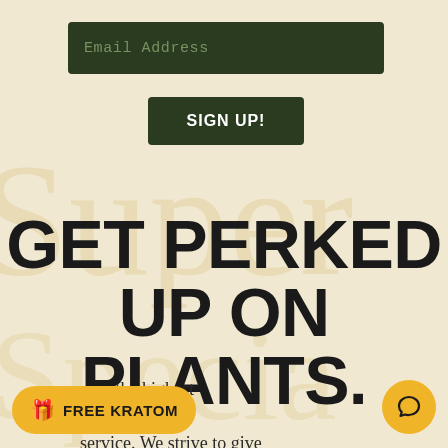Email Address
SIGN UP!
GET PERKED UP ON PLANTS.
erve the highest products and service. We strive to give
🎁 FREE KRATOM
[Figure (illustration): Chat bubble icon circle button]